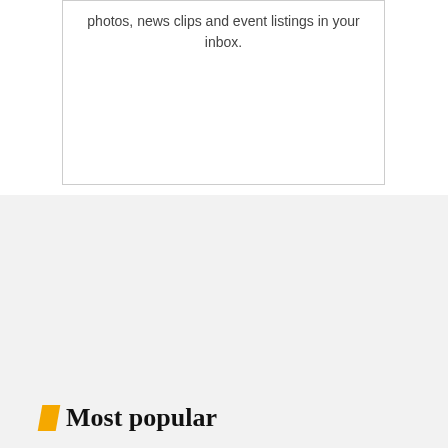photos, news clips and event listings in your inbox.
Most popular
[Figure (photo): A crowd of protesters holding signs at an outdoor demonstration or rally]